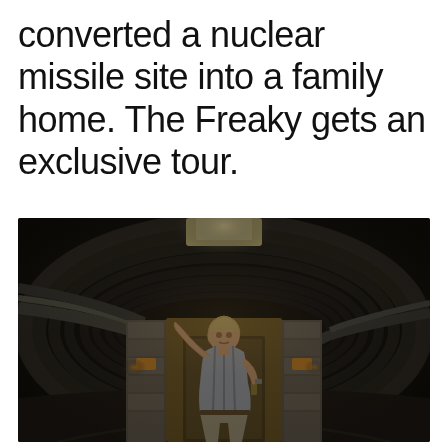converted a nuclear missile site into a family home. The Freaky gets an exclusive tour.
[Figure (photo): A man standing inside a large circular corrugated metal tunnel (converted nuclear missile silo), with warm wall lights on either side of a wooden door framed by stone, holding onto pipes overhead, lit from above by a ceiling light.]